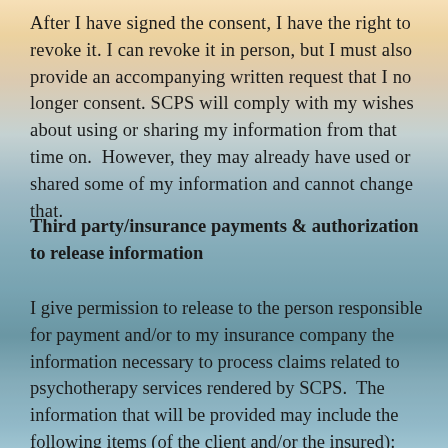After I have signed the consent, I have the right to revoke it. I can revoke it in person, but I must also provide an accompanying written request that I no longer consent. SCPS will comply with my wishes about using or sharing my information from that time on.  However, they may already have used or shared some of my information and cannot change that.
Third party/insurance payments & authorization to release information
I give permission to release to the person responsible for payment and/or to my insurance company the information necessary to process claims related to psychotherapy services rendered by SCPS.  The information that will be provided may include the following items (of the client and/or the insured): name, address, DOB, insurance ID #, SS #, insurance group #, fee, dates of services, type and location of service,